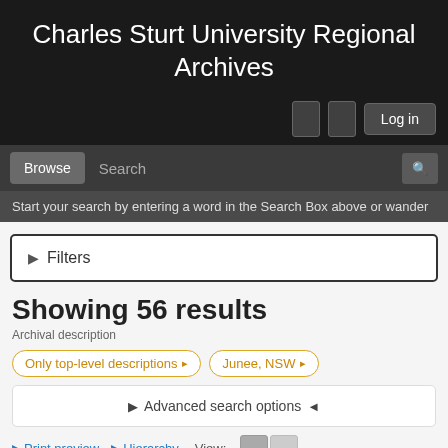Charles Sturt University Regional Archives
Log in
Browse  Search
Start your search by entering a word in the Search Box above or wander
Filters
Showing 56 results
Archival description
Only top-level descriptions  ×
Junee, NSW  ×
Advanced search options
Print preview  Hierarchy  View: